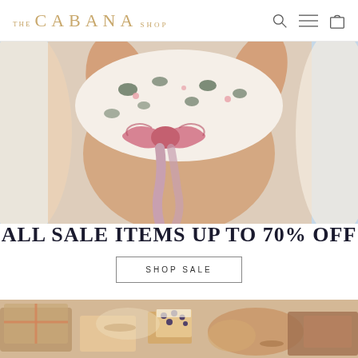THE CABANA SHOP
[Figure (photo): Close-up of a woman tying a pink floral bikini top with a bow, white background with floral pattern fabric]
ALL SALE ITEMS UP TO 70% OFF
SHOP SALE
[Figure (photo): Food spread with appetizers, bread with toppings including blueberries, wrapped gifts and charcuterie items on a light surface]